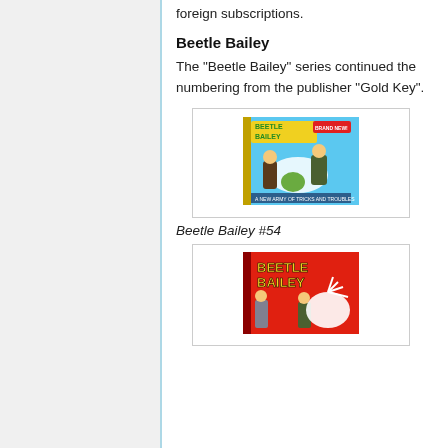foreign subscriptions.
Beetle Bailey
The "Beetle Bailey" series continued the numbering from the publisher "Gold Key".
[Figure (illustration): Comic book cover of Beetle Bailey #54, showing cartoon characters in a snowy scene with a green background and yellow title logo.]
Beetle Bailey #54
[Figure (illustration): Comic book cover of a Beetle Bailey issue with red background and the title in large yellow letters, showing cartoon characters.]